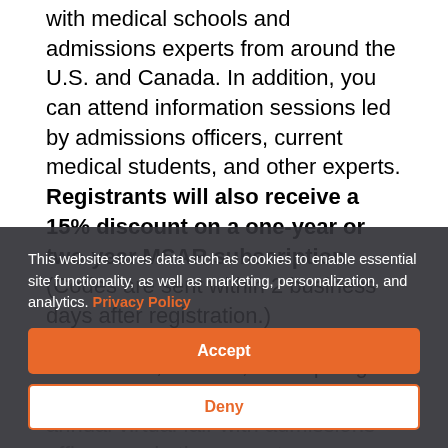with medical schools and admissions experts from around the U.S. and Canada. In addition, you can attend information sessions led by admissions officers, current medical students, and other experts. Registrants will also receive a 15% discount on a one-year or two-year MSAR subscription. (Codes are sent within 2 business days after registration.)
Since 2016, over 80,000 aspiring medical students have attended the annual virtual fair with...
Coming soon — view more expert advice and medical...
This website stores data such as cookies to enable essential site functionality, as well as marketing, personalization, and analytics. Privacy Policy